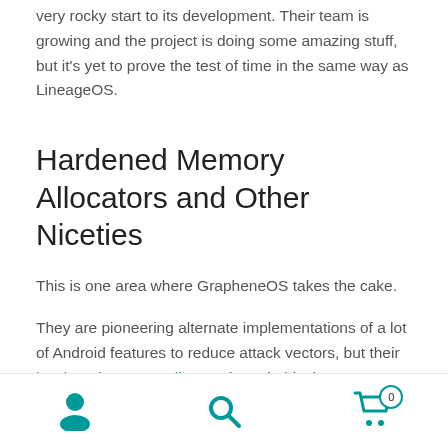very rocky start to its development. Their team is growing and the project is doing some amazing stuff, but it's yet to prove the test of time in the same way as LineageOS.
Hardened Memory Allocators and Other Niceties
This is one area where GrapheneOS takes the cake.
They are pioneering alternate implementations of a lot of Android features to reduce attack vectors, but their hardened memory allocator is probably the most impressive. This is a very low-level feature that the
Navigation bar with person, search, and cart (0) icons